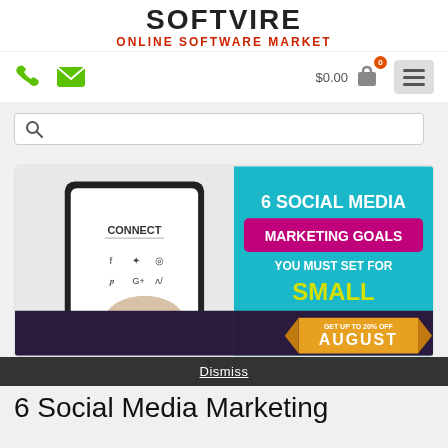SOFTVIRE ONLINE SOFTWARE MARKET
[Figure (screenshot): Navigation bar with phone icon, email icon, $0.00 cart with badge showing 0, and hamburger menu button]
[Figure (screenshot): Search bar with magnifying glass icon]
[Figure (photo): Article card showing a split image: left side shows hands holding a tablet displaying CONNECT with social media icons (Facebook, Twitter, Instagram, Pinterest, Google+, Vine); right side is teal background with text '6 SOCIAL MEDIA MARKETING GOALS YOU MUST SET FOR SMALL BUSINESS'; bottom has a dark purple promotional bar with an orange ribbon banner reading 'GET UP TO 20% OFF AUGUST']
Dismiss
6 Social Media Marketing